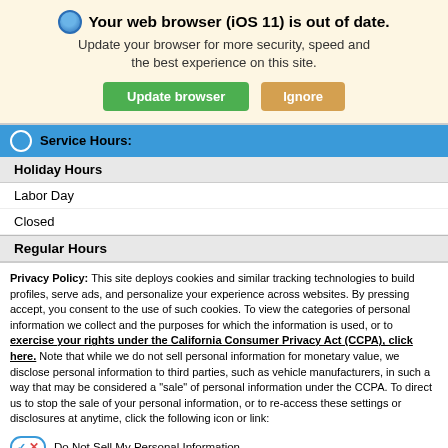[Figure (screenshot): Browser update notification banner with globe icon, update browser and ignore buttons]
Service Hours:
Holiday Hours
Labor Day
Closed
Regular Hours
Privacy Policy: This site deploys cookies and similar tracking technologies to build profiles, serve ads, and personalize your experience across websites. By pressing accept, you consent to the use of such cookies. To view the categories of personal information we collect and the purposes for which the information is used, or to exercise your rights under the California Consumer Privacy Act (CCPA), click here. Note that while we do not sell personal information for monetary value, we disclose personal information to third parties, such as vehicle manufacturers, in such a way that may be considered a "sale" of personal information under the CCPA. To direct us to stop the sale of your personal information, or to re-access these settings or disclosures at anytime, click the following icon or link:
Do Not Sell My Personal Information
Language: English
Powered by ComplyAuto
Accept and Continue → | California Privacy Disclosures | ×